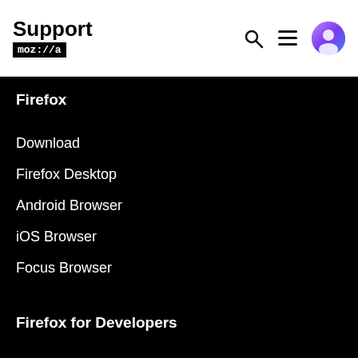Support moz://a
Firefox
Download
Firefox Desktop
Android Browser
iOS Browser
Focus Browser
Firefox for Developers
Developer Edition
Beta
Beta for Android